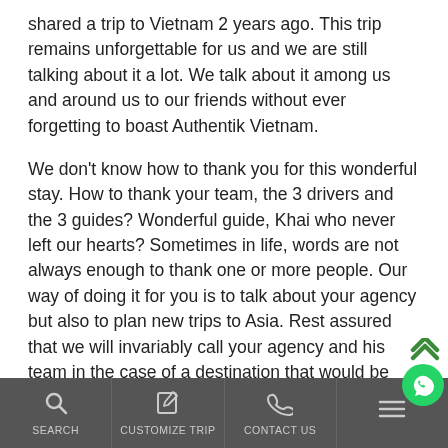shared a trip to Vietnam 2 years ago. This trip remains unforgettable for us and we are still talking about it a lot. We talk about it among us and around us to our friends without ever forgetting to boast Authentik Vietnam.
We don't know how to thank you for this wonderful stay. How to thank your team, the 3 drivers and the 3 guides? Wonderful guide, Khai who never left our hearts? Sometimes in life, words are not always enough to thank one or more people. Our way of doing it for you is to talk about your agency but also to plan new trips to Asia. Rest assured that we will invariably call your agency and his team in the case of a destination that would be Laos, Cambodia or Vietnam again.
In the immediate future we come to wish a very happy birthday to Authentik Vietnam. Your agency is young and
SEARCH   CUSTOMIZE TRIP   CONTACT US   ☰